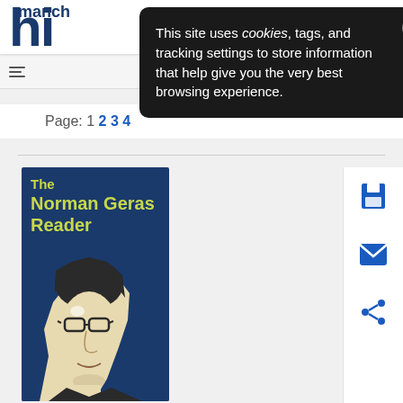manch... hi...
This site uses cookies, tags, and tracking settings to store information that help give you the very best browsing experience.
Page: 1 2 3 4
[Figure (illustration): Book cover of 'The Norman Geras Reader: What's there is there' with dark blue background, yellow-green title text, and a high-contrast illustration of a man's face with glasses.]